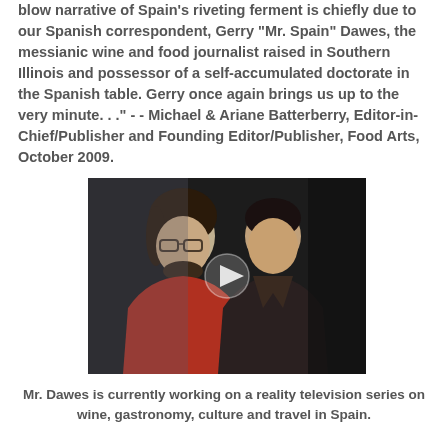blow narrative of Spain's riveting ferment is chiefly due to our Spanish correspondent, Gerry "Mr. Spain" Dawes, the messianic wine and food journalist raised in Southern Illinois and possessor of a self-accumulated doctorate in the Spanish table. Gerry once again brings us up to the very minute. . ." - - Michael & Ariane Batterberry, Editor-in-Chief/Publisher and Founding Editor/Publisher, Food Arts, October 2009.
[Figure (photo): Video thumbnail showing two men standing side by side, one in a red sweater with glasses on the left, one in dark clothing on the right, with a play button overlay in the center. Dark background.]
Mr. Dawes is currently working on a reality television series on wine, gastronomy, culture and travel in Spain.